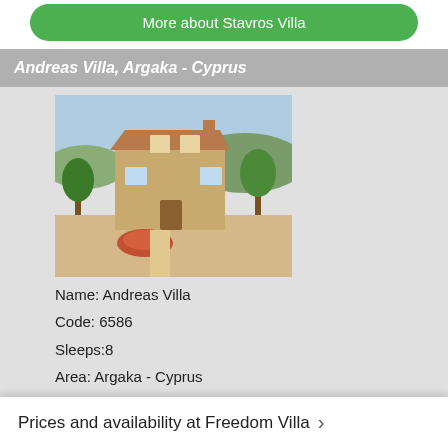More about Stavros Villa
Andreas Villa, Argaka - Cyprus
[Figure (photo): Photo of Andreas Villa, a sandy-coloured Mediterranean villa with terracotta garden features and trees]
Name: Andreas Villa
Code: 6586
Sleeps:8
Area: Argaka - Cyprus
More about Andreas Villa
Petrides Villa, Argaka - Cyprus
[Figure (photo): Photo of Petrides Villa, a stone Mediterranean villa with a blue swimming pool and sun terrace]
Name:
Code:
Prices and availability at Freedom Villa